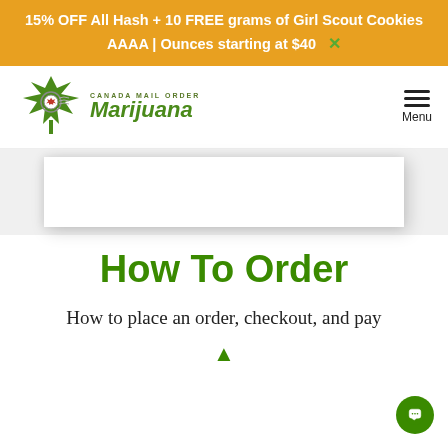15% OFF All Hash + 10 FREE grams of Girl Scout Cookies AAAA | Ounces starting at $40  ×
[Figure (logo): Canada Mail Order Marijuana logo with green cannabis leaf, circular emblem with red maple leaf, and text 'CANADA MAIL ORDER Marijuana']
How To Order
How to place an order, checkout, and pay